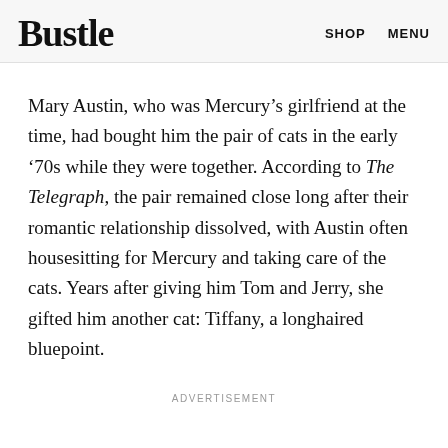Bustle | SHOP  MENU
Mary Austin, who was Mercury’s girlfriend at the time, had bought him the pair of cats in the early ‘70s while they were together. According to The Telegraph, the pair remained close long after their romantic relationship dissolved, with Austin often housesitting for Mercury and taking care of the cats. Years after giving him Tom and Jerry, she gifted him another cat: Tiffany, a longhaired bluepoint.
ADVERTISEMENT